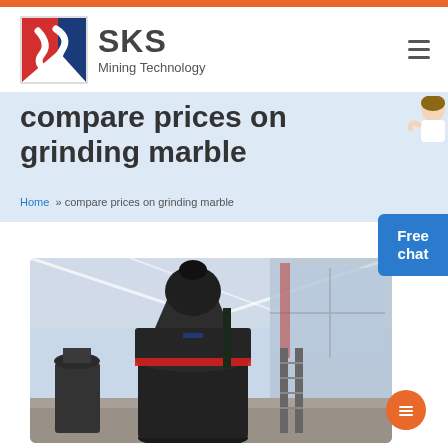[Figure (logo): SKS Mining Technology company logo with red and blue shield icon]
compare prices on grinding marble
Home » compare prices on grinding marble
[Figure (photo): Industrial grinding mill machine inside a large factory/warehouse with metal roof structure. A large dark vertical cylindrical mill machine is visible in a spacious hangar.]
[Figure (other): Free chat customer service button with avatar]